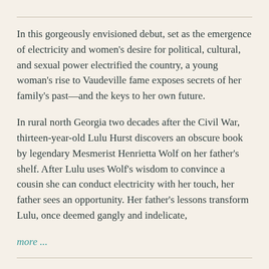In this gorgeously envisioned debut, set as the emergence of electricity and women's desire for political, cultural, and sexual power electrified the country, a young woman's rise to Vaudeville fame exposes secrets of her family's past—and the keys to her own future.
In rural north Georgia two decades after the Civil War, thirteen-year-old Lulu Hurst discovers an obscure book by legendary Mesmerist Henrietta Wolf on her father's shelf. After Lulu uses Wolf's wisdom to convince a cousin she can conduct electricity with her touch, her father sees an opportunity. Her father's lessons transform Lulu, once deemed gangly and indelicate,
more ...